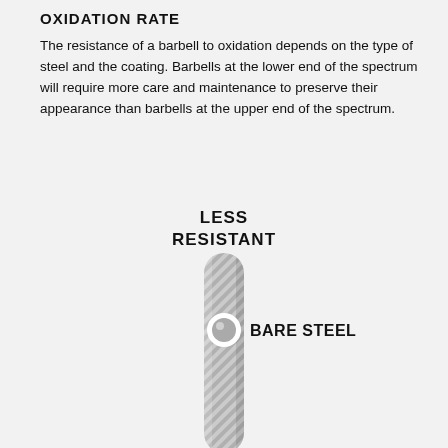OXIDATION RATE
The resistance of a barbell to oxidation depends on the type of steel and the coating. Barbells at the lower end of the spectrum will require more care and maintenance to preserve their appearance than barbells at the upper end of the spectrum.
[Figure (infographic): A vertical spectrum bar with diagonal stripe texture (gray), showing 'LESS RESISTANT' at the top and a slider indicator with a circle marker at the upper-middle position labeled 'BARE STEEL'.]